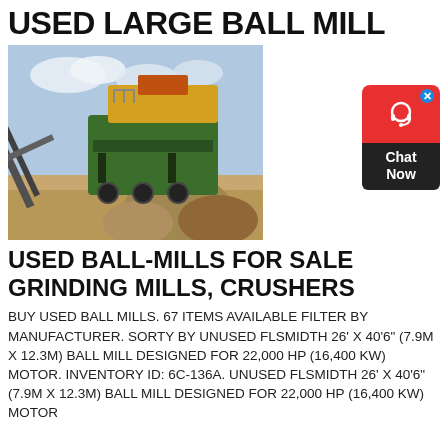USED LARGE BALL MILL
[Figure (photo): Photograph of a large green used ball mill / crusher machine at an outdoor mining site with rocks, conveyor belts, and cloudy sky background.]
USED BALL-MILLS FOR SALE GRINDING MILLS, CRUSHERS
BUY USED BALL MILLS. 67 ITEMS AVAILABLE FILTER BY MANUFACTURER. SORTY BY UNUSED FLSMIDTH 26' X 40'6" (7.9M X 12.3M) BALL MILL DESIGNED FOR 22,000 HP (16,400 KW) MOTOR. INVENTORY ID: 6C-136A. UNUSED FLSMIDTH 26' X 40'6" (7.9M X 12.3M) BALL MILL DESIGNED FOR 22,000 HP (16,400 KW) MOTOR